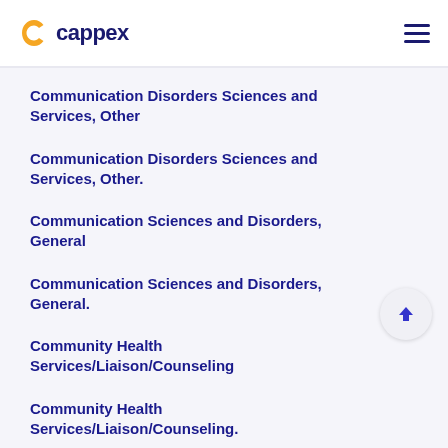cappex
Communication Disorders Sciences and Services, Other
Communication Disorders Sciences and Services, Other.
Communication Sciences and Disorders, General
Communication Sciences and Disorders, General.
Community Health Services/Liaison/Counseling
Community Health Services/Liaison/Counseling.